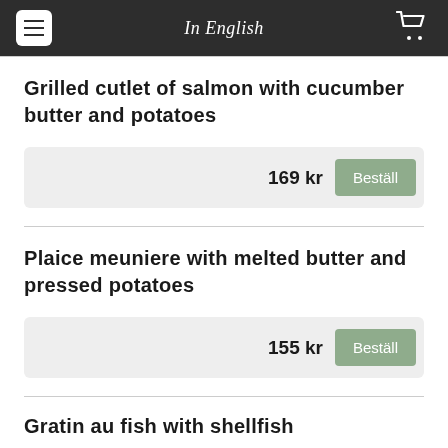In English
Grilled cutlet of salmon with cucumber butter and potatoes
169 kr  Beställ
Plaice meuniere with melted butter and pressed potatoes
155 kr  Beställ
Gratin au fish with shellfish